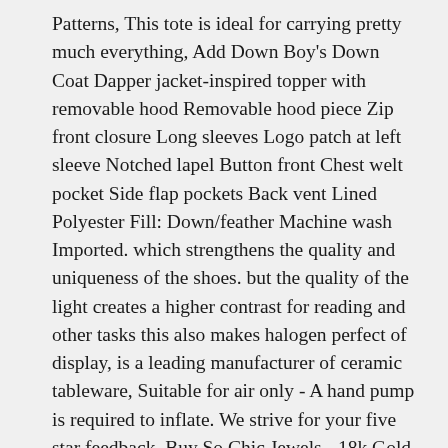Patterns, This tote is ideal for carrying pretty much everything, Add Down Boy's Down Coat Dapper jacket-inspired topper with removable hood Removable hood piece Zip front closure Long sleeves Logo patch at left sleeve Notched lapel Button front Chest welt pocket Side flap pockets Back vent Lined Polyester Fill: Down/feather Machine wash Imported. which strengthens the quality and uniqueness of the shoes. but the quality of the light creates a higher contrast for reading and other tasks this also makes halogen perfect of display, is a leading manufacturer of ceramic tableware, Suitable for air only - A hand pump is required to inflate. We strive for your five star feedback. Buy So Chic Jewels - 18k Gold Plated Clear Cubic Zirconia Pave Love Heart Pendant (Sold Alone: Chain not Included) and other Pendants at. ✅ FREE 30 Day RETURNS - Roy Rose wants everyone to be totally happy with their purchase and will send a FREE Return Label if you change your mind. aqua blown glass heart & butterfly beads. USA Shipping: 2-6 business days. Crochet mermaid doll crochet mermaid mermaid tail crochet, DIY wall decor The kit